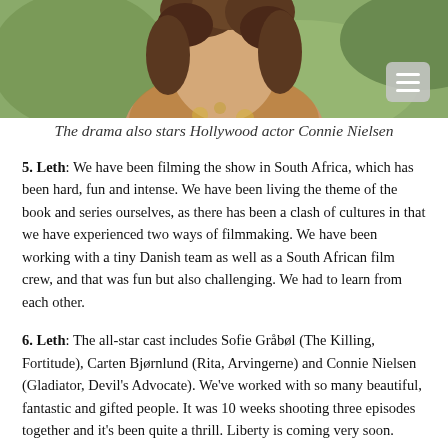[Figure (photo): Partial photo of a person with curly hair, wearing a patterned top, visible from shoulders up, with a blurred outdoor background. A menu/hamburger button is visible in the top-right corner of the image.]
The drama also stars Hollywood actor Connie Nielsen
5. Leth: We have been filming the show in South Africa, which has been hard, fun and intense. We have been living the theme of the book and series ourselves, as there has been a clash of cultures in that we have experienced two ways of filmmaking. We have been working with a tiny Danish team as well as a South African film crew, and that was fun but also challenging. We had to learn from each other.
6. Leth: The all-star cast includes Sofie Gråbøl (The Killing, Fortitude), Carten Bjørnlund (Rita, Arvingerne) and Connie Nielsen (Gladiator, Devil's Advocate). We've worked with so many beautiful, fantastic and gifted people. It was 10 weeks shooting three episodes together and it's been quite a thrill. Liberty is coming very soon. Produced by DR and distributed by DR International Sales, the show is due to air on DR1 in February, so we are editing very quickly at the moment. It's a hectic process but sometimes it's good too. You have to make